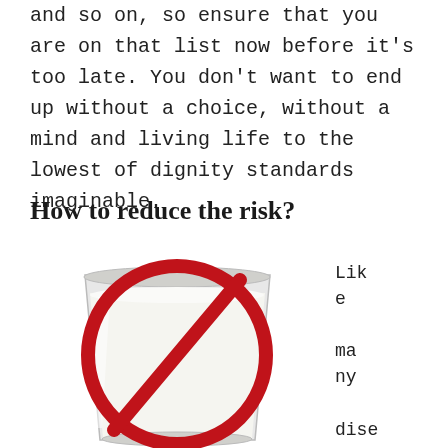and so on, so ensure that you are on that list now before it's too late. You don't want to end up without a choice, without a mind and living life to the lowest of dignity standards imaginable.
How to reduce the risk?
[Figure (illustration): A glass of milk with a red prohibition circle (no-sign) drawn over it, indicating avoidance of milk/dairy.]
Like many diseases, ther e